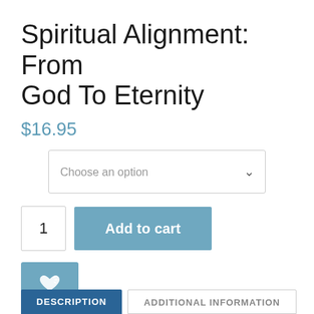Spiritual Alignment: From God To Eternity
$16.95
Choose an option
1
Add to cart
[Figure (other): Wishlist button with heart icon in blue/teal color]
SKU: N/A  Category: Featured Books
DESCRIPTION
ADDITIONAL INFORMATION